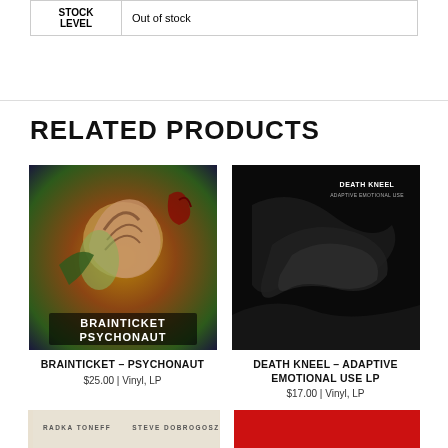| STOCK LEVEL |  |
| --- | --- |
| STOCK LEVEL | Out of stock |
RELATED PRODUCTS
[Figure (photo): Album cover for Brainticket - Psychonaut, colorful psychedelic artwork featuring a human head with brain imagery and surreal elements]
BRAINTICKET – PSYCHONAUT
$25.00 | Vinyl, LP
[Figure (photo): Album cover for Death Kneel - Adaptive Emotional Use LP, dark black cover with abstract imagery and white text reading DEATH KNEEL ADAPTIVE EMOTIONAL USE]
DEATH KNEEL – ADAPTIVE EMOTIONAL USE LP
$17.00 | Vinyl, LP
[Figure (photo): Album cover partially visible - cream/beige colored with text RADKA TONEFF STEVE DOBROGOSZ]
[Figure (photo): Album cover partially visible - bright red background]